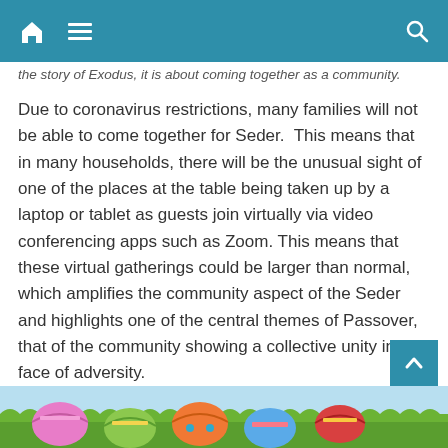[navigation bar with home icon, hamburger menu, and search icon]
the story of Exodus, it is about coming together as a community.
Due to coronavirus restrictions, many families will not be able to come together for Seder.  This means that in many households, there will be the unusual sight of one of the places at the table being taken up by a laptop or tablet as guests join virtually via video conferencing apps such as Zoom. This means that these virtual gatherings could be larger than normal, which amplifies the community aspect of the Seder and highlights one of the central themes of Passover, that of the community showing a collective unity in the face of adversity.
Also using technology, some synagogues are offering virtual lessons for children that explore the history and traditions of Seder.
E-Easter
[Figure (photo): Easter eggs with colorful decorations on grass with blue sky background, partially visible at bottom of page]